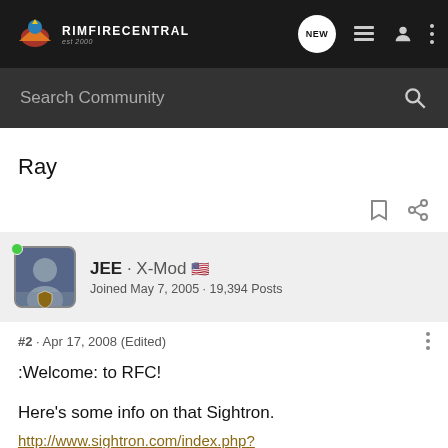RIMFIRECENTRAL
Search Community
Ray
JEE · X-Mod
Joined May 7, 2005 · 19,394 Posts
#2 · Apr 17, 2008 (Edited)
:Welcome: to RFC!
Here's some info on that Sightron.
http://www.sightron.com/index.php?
action=view_document&did=1203036878&expanded=t&cat_id=